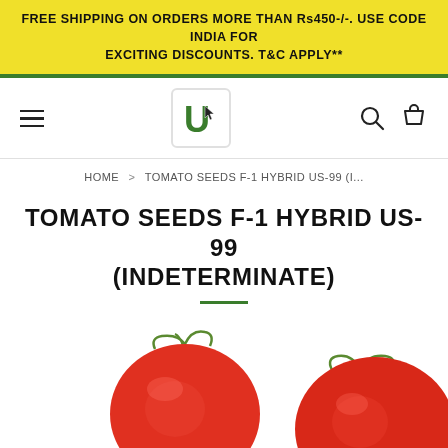FREE SHIPPING ON ORDERS MORE THAN Rs450-/-. USE CODE INDIA FOR EXCITING DISCOUNTS. T&C APPLY**
[Figure (logo): U logo with cursor icon in a rounded square border]
HOME > TOMATO SEEDS F-1 HYBRID US-99 (I...
TOMATO SEEDS F-1 HYBRID US-99 (INDETERMINATE)
[Figure (photo): Two red tomatoes on vine with green stems, one full tomato visible on left, one partially visible on right, white background]